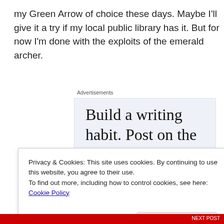my Green Arrow of choice these days. Maybe I'll give it a try if my local public library has it. But for now I'm done with the exploits of the emerald archer.
Advertisements
[Figure (infographic): Advertisement banner with light blue background showing text 'Build a writing habit. Post on the go.' in large serif font, with a blue circular icon at the bottom right.]
Privacy & Cookies: This site uses cookies. By continuing to use this website, you agree to their use.
To find out more, including how to control cookies, see here: Cookie Policy
Close and accept